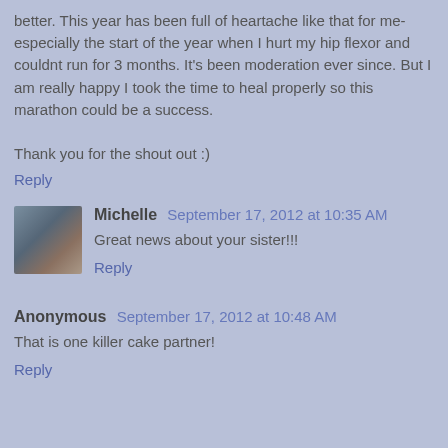better. This year has been full of heartache like that for me- especially the start of the year when I hurt my hip flexor and couldnt run for 3 months. It's been moderation ever since. But I am really happy I took the time to heal properly so this marathon could be a success.

Thank you for the shout out :)
Reply
Michelle  September 17, 2012 at 10:35 AM
Great news about your sister!!!
Reply
Anonymous  September 17, 2012 at 10:48 AM
That is one killer cake partner!
Reply